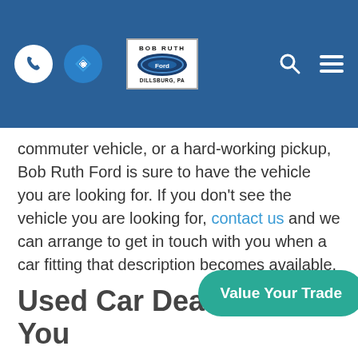Bob Ruth Ford - Dillsburg, PA (header navigation bar)
commuter vehicle, or a hard-working pickup, Bob Ruth Ford is sure to have the vehicle you are looking for. If you don't see the vehicle you are looking for, contact us and we can arrange to get in touch with you when a car fitting that description becomes available.
Used Car Dealer Near You
Our used car lot in Dillsburg, PA is filled with high-quality vehicles. Each used car we sell undergoes a thorough multi-point inspection and reconditioning, which means that you receive your pre-owned vehicle in the best We put the trust and satisfaction of our cust selling a car, that is why our customers know that they can count on us and return to see us time and again. Contact us
[Figure (other): Value Your Trade button - teal/green rounded button]